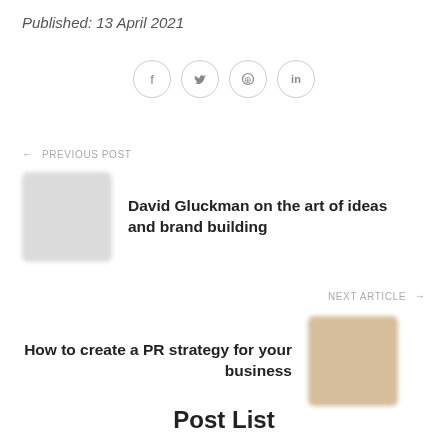Published: 13 April 2021
[Figure (other): Social share icons: Facebook, Twitter, Pinterest, LinkedIn — circular outlined buttons]
← PREVIOUS POST
[Figure (photo): Blurred thumbnail image for previous post]
David Gluckman on the art of ideas and brand building
NEXT ARTICLE →
How to create a PR strategy for your business
[Figure (photo): Blurred thumbnail image for next article]
Post List